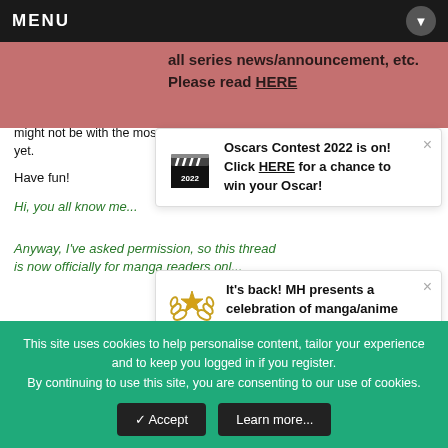MENU
all series news/announcement, etc. Please read HERE
Just remember to be mindful of everybody who might not be with the most current chapter just yet.
Have fun!
Hi, you all know me...
[Figure (illustration): Popup notification card: Oscars Contest 2022 is on! Click HERE for a chance to win your Oscar! with film clapperboard icon]
Anyway, I've asked permission, so this thread is now officially for manga readers only...
[Figure (illustration): Popup notification card: It's back! MH presents a celebration of manga/anime culture; Mangahelpers Awards 2022 is NOW LIVE! with award star icon]
But if I find that the... create another thre...
So, spoiler tags ar not needed
This site uses cookies to help personalise content, tailor your experience and to keep you logged in if you register. By continuing to use this site, you are consenting to our use of cookies.